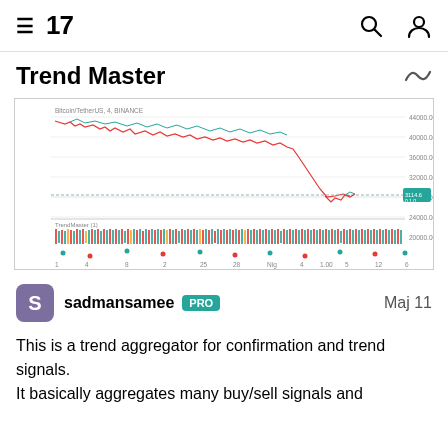TradingView logo and navigation
Trend Master
[Figure (continuous-plot): Bitcoin/TetherUS 4H BINANCE candlestick chart with Trend Master indicator overlay, showing price declining from ~44000 to ~29000 USDT, with red/green buy-sell signal histogram at bottom panel]
sadmansamee PRO  Maj 11
This is a trend aggregator for confirmation and trend signals. It basically aggregates many buy/sell signals and